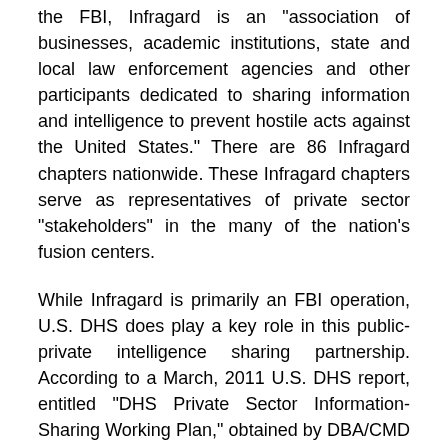the FBI, Infragard is an "association of businesses, academic institutions, state and local law enforcement agencies and other participants dedicated to sharing information and intelligence to prevent hostile acts against the United States." There are 86 Infragard chapters nationwide. These Infragard chapters serve as representatives of private sector "stakeholders" in the many of the nation's fusion centers.
While Infragard is primarily an FBI operation, U.S. DHS does play a key role in this public-private intelligence sharing partnership. According to a March, 2011 U.S. DHS report, entitled "DHS Private Sector Information-Sharing Working Plan," obtained by DBA/CMD through a Freedom of Information Act (FOIA) request submitted to the office of U.S. DHS Secretary Napolitano, U.S. DHS IP provides funding to the FBI for distribution to Infragard chapters that have "[demonstrated] the ability to organize and host